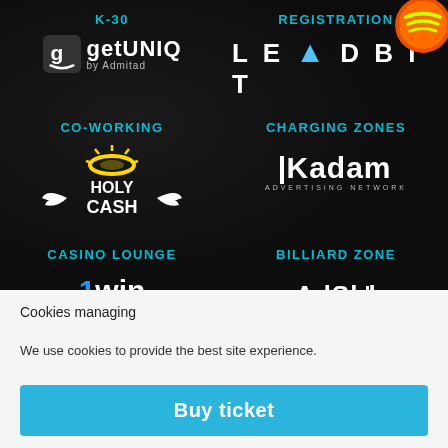K-30
[Figure (logo): getUNIQ by Admitad logo — white square icon with letter G and smiley, text 'getUNIQ' in white bold, 'by Admitad' smaller]
REGISTRATION
[Figure (logo): LEADBIT logo in white bold caps, letter A replaced with triangle, with orange Spotify-like icon top right]
CO-WORKING
[Figure (logo): Holy Cash logo — yellow halo, angel wings, bold white text HOLY CASH]
CHARGING ZONES
[Figure (logo): Kadam Advertising Network logo in white bold, with vertical bar before K]
CASINO LOUNGE
[Figure (logo): 1win Partners logo — blue 1, white win, PARTNERS subtitle]
BILLIARD ZONE
[Figure (logo): AdSkull logo in white bold text]
Cookies managing
We use cookies to provide the best site experience.
Buy ticket